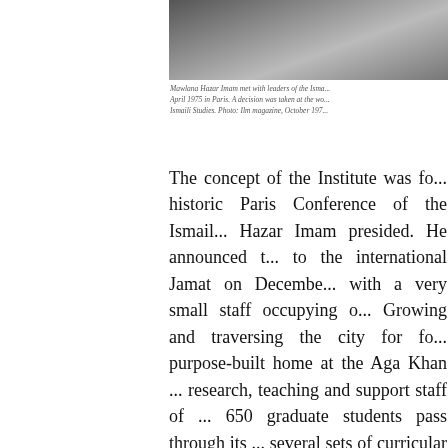[Figure (photo): Black and white photograph of Mawlana Hazar Imam meeting with leaders of the Ismaili community, Paris 1975]
Mawlana Hazar Imam met with leaders of the Isma... April 1975 in Paris. A decision was taken at the wo... Ismaili Studies. Photo: Ilm magazine, October 197...
The concept of the Institute was fo... historic Paris Conference of the Ismail... Hazar Imam presided. He announced t... to the international Jamat on Decembe... with a very small staff occupying o... Growing and traversing the city for fo... purpose-built home at the Aga Khan ... research, teaching and support staff of ... 650 graduate students pass through its ... several sets of curricular materials ha... and the world is a registry of...